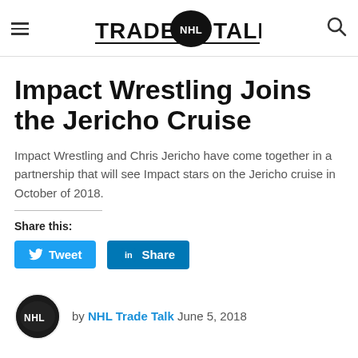TRADE NHL TALK
Impact Wrestling Joins the Jericho Cruise
Impact Wrestling and Chris Jericho have come together in a partnership that will see Impact stars on the Jericho cruise in October of 2018.
Share this:
Tweet  Share
by NHL Trade Talk  June 5, 2018